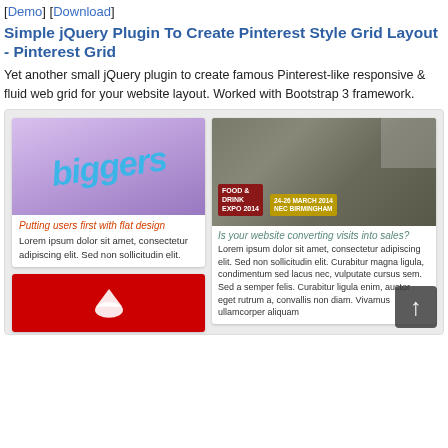[Demo] [Download]
Simple jQuery Plugin To Create Pinterest Style Grid Layout - Pinterest Grid
Yet another small jQuery plugin to create famous Pinterest-like responsive & fluid web grid for your website layout. Worked with Bootstrap 3 framework.
[Figure (screenshot): Screenshot of Pinterest-style grid layout demo showing cards with images and text. Left column has a 'biggers' branded card with 'Putting users first with flat design' title and lorem ipsum text, plus a red card below. Right column shows a Food & Drink Expo 2014 event card and 'Is your website converting visits into sales?' card with lorem ipsum text.]